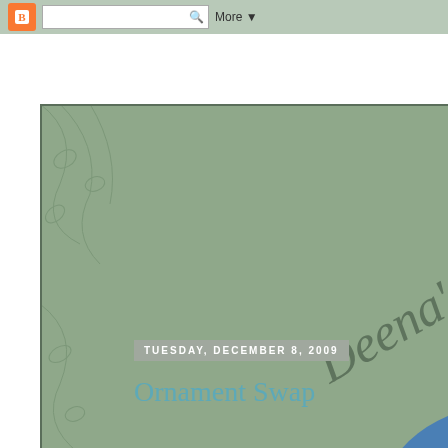Blogger navigation bar with logo, search box, and More menu
[Figure (illustration): Blog header image showing a blue bird (bluebird) perched on a sage green vintage background with botanical vine/floral motifs. Text 'Deena's Story' is written in cursive script diagonally across the image.]
TUESDAY, DECEMBER 8, 2009
Ornament Swap